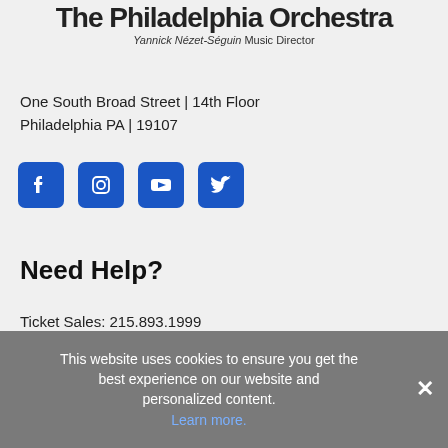[Figure (logo): The Philadelphia Orchestra logo with text 'The Philadelphia Orchestra' and subtitle 'Yannick Nézet-Séguin Music Director']
One South Broad Street | 14th Floor
Philadelphia PA | 19107
[Figure (illustration): Social media icons for Facebook, Instagram, YouTube, and Twitter in blue rounded square buttons]
Need Help?
Ticket Sales: 215.893.1999
Subscriber Services: 215.893.1955
Group Sales: 215.893.1968
This website uses cookies to ensure you get the best experience on our website and personalized content.
Learn more.